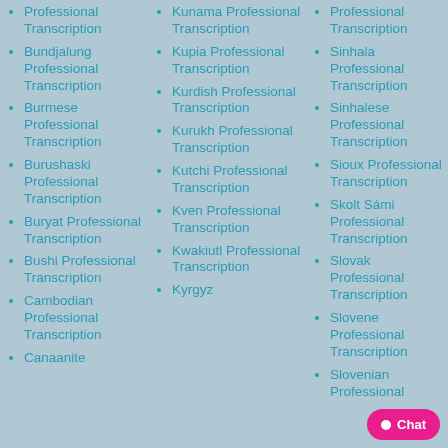Professional Transcription
Bundjalung Professional Transcription
Burmese Professional Transcription
Burushaski Professional Transcription
Buryat Professional Transcription
Bushi Professional Transcription
Cambodian Professional Transcription
Canaanite
Kunama Professional Transcription
Kupia Professional Transcription
Kurdish Professional Transcription
Kurukh Professional Transcription
Kutchi Professional Transcription
Kven Professional Transcription
Kwakiutl Professional Transcription
Kyrgyz
Professional Transcription
Sinhala Professional Transcription
Sinhalese Professional Transcription
Sioux Professional Transcription
Skolt Sámi Professional Transcription
Slovak Professional Transcription
Slovene Professional Transcription
Slovenian Professional